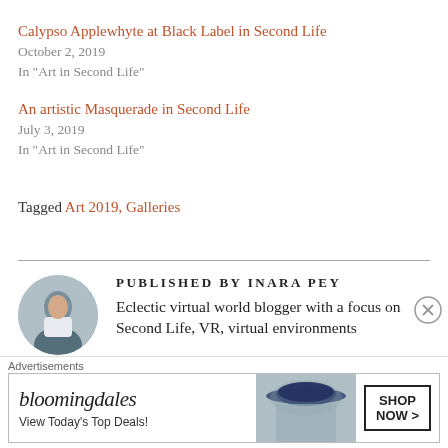Calypso Applewhyte at Black Label in Second Life
October 2, 2019
In "Art in Second Life"
An artistic Masquerade in Second Life
July 3, 2019
In "Art in Second Life"
Tagged Art 2019, Galleries
PUBLISHED BY INARA PEY
Eclectic virtual world blogger with a focus on Second Life, VR, virtual environments
[Figure (photo): Circular avatar photo of Inara Pey, showing a person in white dress]
Advertisements
[Figure (other): Bloomingdale's advertisement banner: 'View Today's Top Deals!' with SHOP NOW > button and woman in hat image]